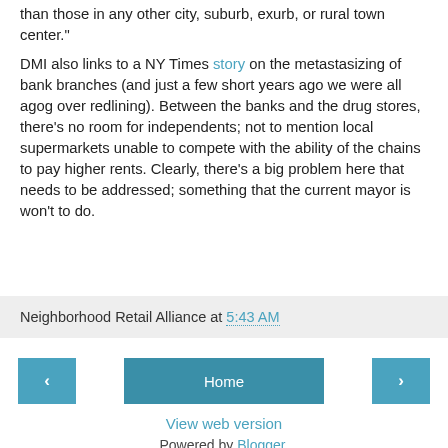than those in any other city, suburb, exurb, or rural town center."
DMI also links to a NY Times story on the metastasizing of bank branches (and just a few short years ago we were all agog over redlining). Between the banks and the drug stores, there's no room for independents; not to mention local supermarkets unable to compete with the ability of the chains to pay higher rents. Clearly, there's a big problem here that needs to be addressed; something that the current mayor is won't to do.
Neighborhood Retail Alliance at 5:43 AM
< | Home | >
View web version
Powered by Blogger.